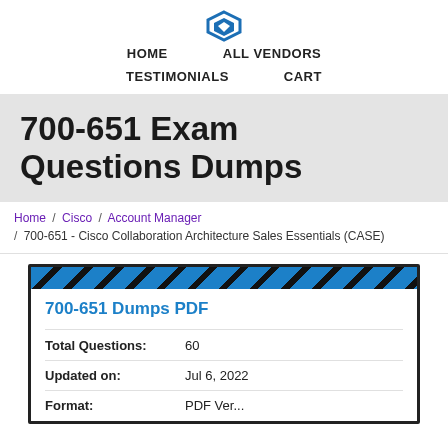[Figure (logo): Diamond/heart shaped blue logo icon]
HOME    ALL VENDORS    TESTIMONIALS    CART
700-651 Exam Questions Dumps
Home / Cisco / Account Manager / 700-651 - Cisco Collaboration Architecture Sales Essentials (CASE)
700-651 Dumps PDF
| Field | Value |
| --- | --- |
| Total Questions: | 60 |
| Updated on: | Jul 6, 2022 |
| Format: | PDF Version |